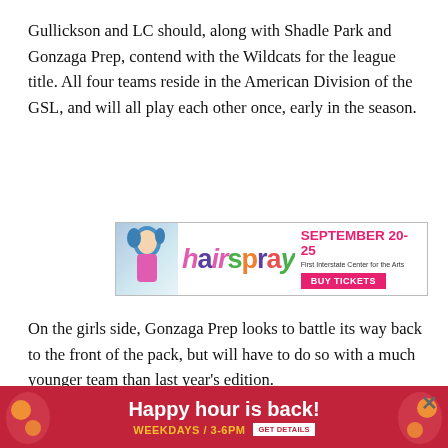Gullickson and LC should, along with Shadle Park and Gonzaga Prep, contend with the Wildcats for the league title. All four teams reside in the American Division of the GSL, and will all play each other once, early in the season.
[Figure (infographic): Hairspray musical advertisement banner: SEPTEMBER 20-25, First Interstate Center for the Arts, BUY TICKETS]
On the girls side, Gonzaga Prep looks to battle its way back to the front of the pack, but will have to do so with a much younger team than last year’s edition.
“We should be challenging for the top of the league,” G-Prep h[...] have five se[...] year.”
[Figure (infographic): Happy hour is back! WEEKDAYS / 3-6PM GET DETAILS — sticky bottom advertisement banner in red/crimson color]